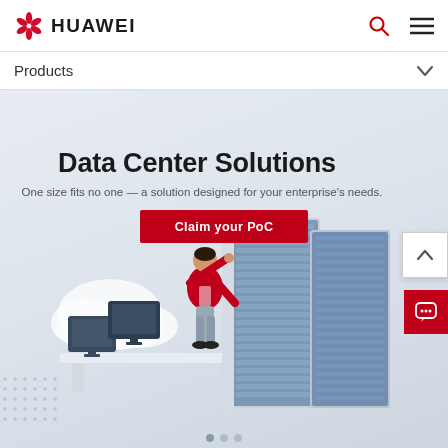HUAWEI
Products
[Figure (illustration): Huawei Data Center Solutions hero banner with illustration of a person managing server racks, cloud icon, and desktop monitors on a light blue-grey gradient background]
Data Center Solutions
One size fits no one — a solution designed for your enterprise's needs.
Claim your PoC